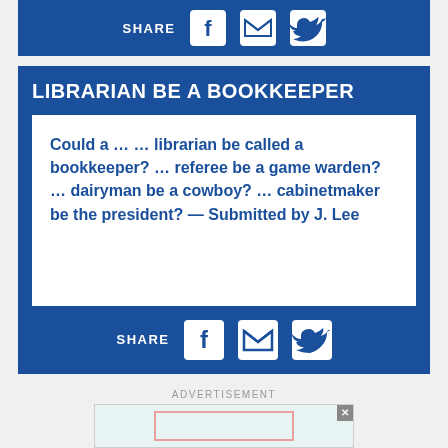[Figure (infographic): Share bar with Facebook, email, and Twitter icons on blue background]
LIBRARIAN BE A BOOKKEEPER
Could a … … librarian be called a bookkeeper? … referee be a game warden? … dairyman be a cowboy? … cabinetmaker be the president? — Submitted by J. Lee
[Figure (infographic): Share bar with Facebook, email, and Twitter icons on blue background]
ADVERTISEMENT
[Figure (infographic): Advertisement banner placeholder]